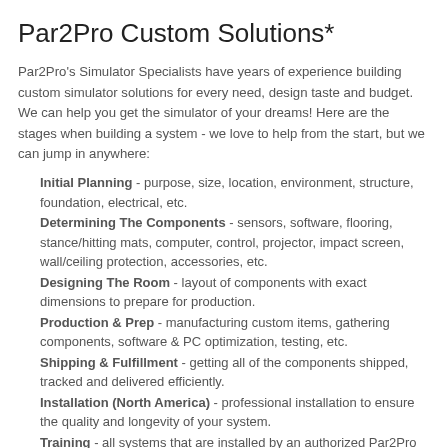Par2Pro Custom Solutions*
Par2Pro's Simulator Specialists have years of experience building custom simulator solutions for every need, design taste and budget. We can help you get the simulator of your dreams! Here are the stages when building a system - we love to help from the start, but we can jump in anywhere:
Initial Planning - purpose, size, location, environment, structure, foundation, electrical, etc.
Determining The Components - sensors, software, flooring, stance/hitting mats, computer, control, projector, impact screen, wall/ceiling protection, accessories, etc.
Designing The Room - layout of components with exact dimensions to prepare for production.
Production & Prep - manufacturing custom items, gathering components, software & PC optimization, testing, etc.
Shipping & Fulfillment - getting all of the components shipped, tracked and delivered efficiently.
Installation (North America) - professional installation to ensure the quality and longevity of your system.
Training - all systems that are installed by an authorized Par2Pro installer will include basic training; however, extensive training is also available.
After Sales Support - double the support: Par2Pro as well as the manufacturer! If our team is unable to answer your question(s) we will work with you and the manufacturer until your question is answered.